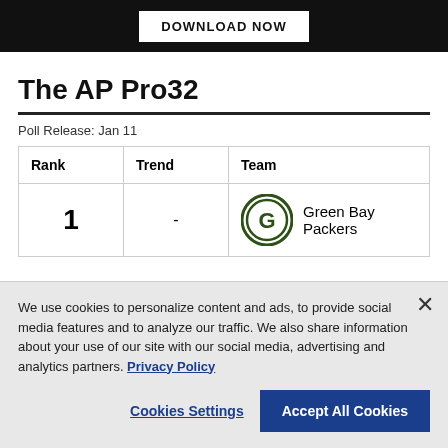[Figure (screenshot): Dark banner ad with DOWNLOAD NOW button]
The AP Pro32
Poll Release: Jan 11
| Rank | Trend | Team |
| --- | --- | --- |
| 1 | - | Green Bay Packers |
We use cookies to personalize content and ads, to provide social media features and to analyze our traffic. We also share information about your use of our site with our social media, advertising and analytics partners. Privacy Policy
Cookies Settings
Accept All Cookies